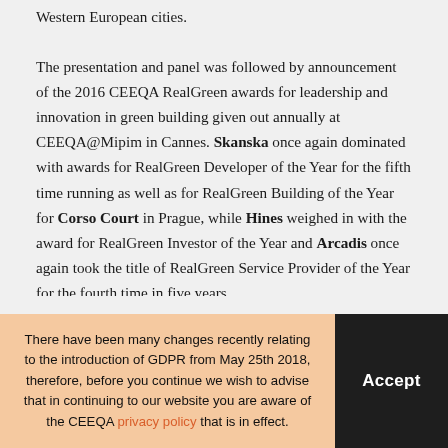Western European cities.

The presentation and panel was followed by announcement of the 2016 CEEQA RealGreen awards for leadership and innovation in green building given out annually at CEEQA@Mipim in Cannes. Skanska once again dominated with awards for RealGreen Developer of the Year for the fifth time running as well as for RealGreen Building of the Year for Corso Court in Prague, while Hines weighed in with the award for RealGreen Investor of the Year and Arcadis once again took the title of RealGreen Service Provider of the Year for the fourth time in five years.
There have been many changes recently relating to the introduction of GDPR from May 25th 2018, therefore, before you continue we wish to advise that in continuing to our website you are aware of the CEEQA privacy policy that is in effect.
Accept